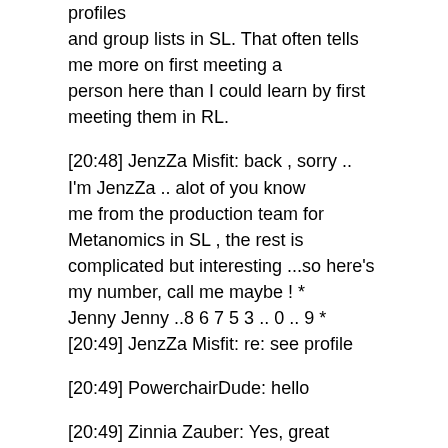profiles and group lists in SL. That often tells me more on first meeting a person here than I could learn by first meeting them in RL.
[20:48] JenzZa Misfit: back , sorry .. I'm JenzZa .. alot of you know me from the production team for Metanomics in SL , the rest is complicated but interesting ...so here's my number, call me maybe ! * Jenny Jenny ..8 6 7 5 3 .. 0 .. 9 * [20:49] JenzZa Misfit: re: see profile
[20:49] PowerchairDude: hello
[20:49] Zinnia Zauber: Yes, great answer Gentle!